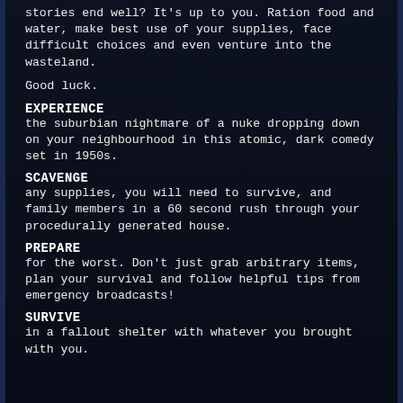stories end well? It's up to you. Ration food and water, make best use of your supplies, face difficult choices and even venture into the wasteland.
Good luck.
EXPERIENCE
the suburbian nightmare of a nuke dropping down on your neighbourhood in this atomic, dark comedy set in 1950s.
SCAVENGE
any supplies, you will need to survive, and family members in a 60 second rush through your procedurally generated house.
PREPARE
for the worst. Don't just grab arbitrary items, plan your survival and follow helpful tips from emergency broadcasts!
SURVIVE
in a fallout shelter with whatever you brought with you.